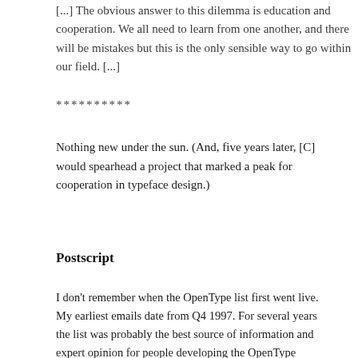[...] The obvious answer to this dilemma is education and cooperation. We all need to learn from one another, and there will be mistakes but this is the only sensible way to go within our field. [...]
**********
Nothing new under the sun. (And, five years later, [C] would spearhead a project that marked a peak for cooperation in typeface design.)
Postscript
I don't remember when the OpenType list first went live. My earliest emails date from Q4 1997. For several years the list was probably the best source of information and expert opinion for people developing the OpenType standard. Since